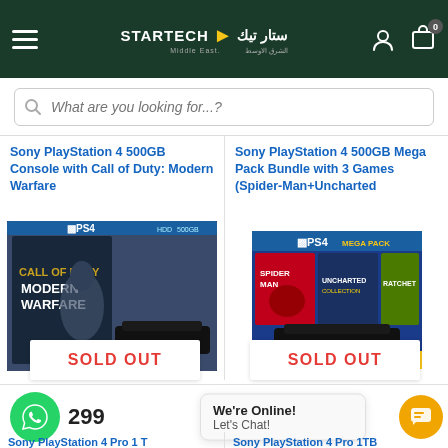STARTECH Middle East (logo) — ستار تيك الشرق الاوسط
What are you looking for...?
Sony PlayStation 4 500GB Console with Call of Duty: Modern Warfare
Sony PlayStation 4 500GB Mega Pack Bundle with 3 Games (Spider-Man+Uncharted
[Figure (photo): PS4 500GB Call of Duty Modern Warfare console box]
[Figure (photo): PS4 500GB Mega Pack Bundle with Spider-Man, Uncharted and Ratchet & Clank games]
SOLD OUT
SOLD OUT
299
We're Online!
Let's Chat!
Sony PlayStation 4 Pro 1 TB
Sony PlayStation 4 Pro 1TB